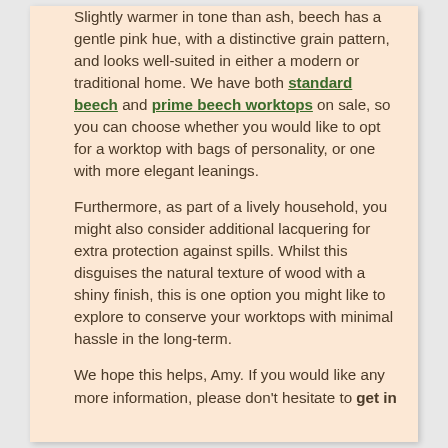Slightly warmer in tone than ash, beech has a gentle pink hue, with a distinctive grain pattern, and looks well-suited in either a modern or traditional home. We have both standard beech and prime beech worktops on sale, so you can choose whether you would like to opt for a worktop with bags of personality, or one with more elegant leanings.
Furthermore, as part of a lively household, you might also consider additional lacquering for extra protection against spills. Whilst this disguises the natural texture of wood with a shiny finish, this is one option you might like to explore to conserve your worktops with minimal hassle in the long-term.
We hope this helps, Amy. If you would like any more information, please don't hesitate to get in